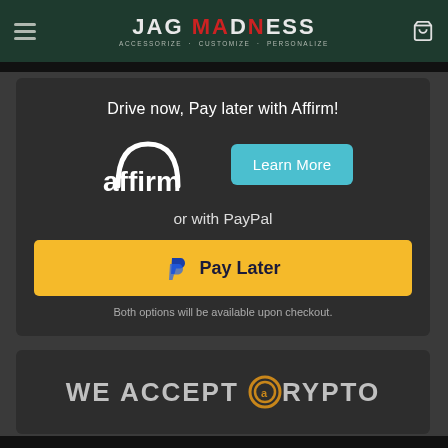JAG MADNESS — ACCESSORIZE . CUSTOMIZE . PERSONALIZE
[Figure (infographic): Affirm payment option card with text 'Drive now, Pay later with Affirm!', Affirm logo, Learn More button, 'or with PayPal' text, yellow Pay Later button with PayPal P icon, and footnote 'Both options will be available upon checkout.']
[Figure (infographic): Dark card with large text 'WE ACCEPT CRYPTO' with a circular crypto currency logo replacing the letter C in CRYPTO]